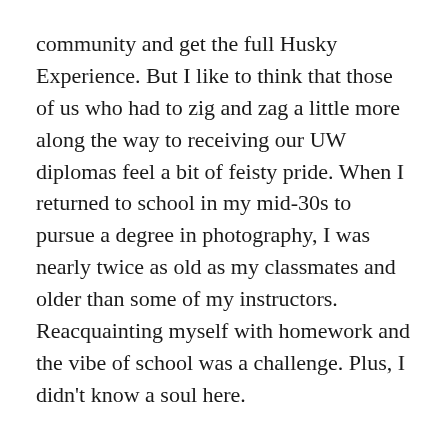community and get the full Husky Experience. But I like to think that those of us who had to zig and zag a little more along the way to receiving our UW diplomas feel a bit of feisty pride. When I returned to school in my mid-30s to pursue a degree in photography, I was nearly twice as old as my classmates and older than some of my instructors. Reacquainting myself with homework and the vibe of school was a challenge. Plus, I didn't know a soul here.
Which is why the second time around meant more—precisely because it required me to adjust to new surroundings, meet new people and learn the best time to hit Parnassus Café in the Art Building to grab a black-and-white cookie and a Diet Coke before art history class. I wanted to squeeze absolutely everything I could out of my education